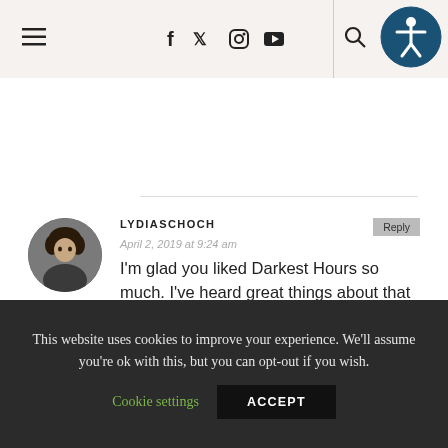Navigation bar with hamburger menu, social icons (f, twitter, instagram, youtube), search, and accessibility button
[Figure (photo): Circular avatar photo of LYDIASCHOCH, a woman with curly dark hair]
LYDIASCHOCH
April 2, 2019 at 9:24 am
I'm glad you liked Darkest Hours so much. I've heard great things about that book.
My Top Ten Tuesday post.
★ Like
This website uses cookies to improve your experience. We'll assume you're ok with this, but you can opt-out if you wish.
Cookie settings    ACCEPT